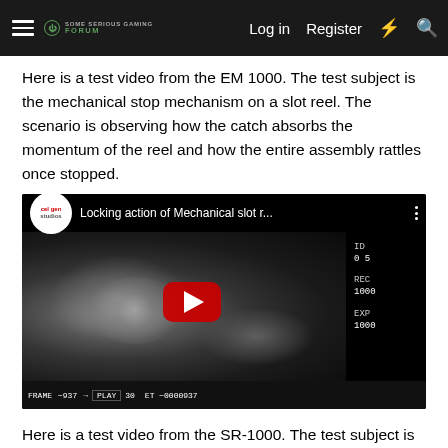Log in  Register
Here is a test video from the EM 1000. The test subject is the mechanical stop mechanism on a slot reel. The scenario is observing how the catch absorbs the momentum of the reel and how the entire assembly rattles once stopped.
[Figure (screenshot): YouTube video thumbnail showing 'Locking action of Mechanical slot r...' with a high-speed camera recording of a slot reel mechanism. Camera data overlay shows ID: 05, REC: 1000, EXP: 1000. Bottom bar shows FRAME -937, PLAY 30, ET-0000937.]
Here is a test video from the SR-1000. The test subject is a